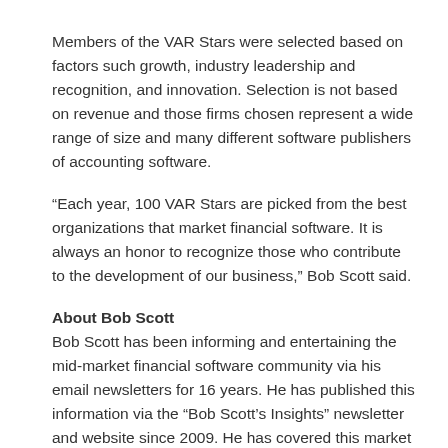Members of the VAR Stars were selected based on factors such growth, industry leadership and recognition, and innovation. Selection is not based on revenue and those firms chosen represent a wide range of size and many different software publishers of accounting software.
“Each year, 100 VAR Stars are picked from the best organizations that market financial software. It is always an honor to recognize those who contribute to the development of our business,” Bob Scott said.
About Bob Scott
Bob Scott has been informing and entertaining the mid-market financial software community via his email newsletters for 16 years. He has published this information via the “Bob Scott’s Insights” newsletter and website since 2009. He has covered this market for 24 years through print and electronic publications, first as technology editor of Accounting Today and then as the Editor of Accounting Technology from 1997 through 2009. He has covered the traditional tax and accounting profession during the same time and has continued to address that market on executive